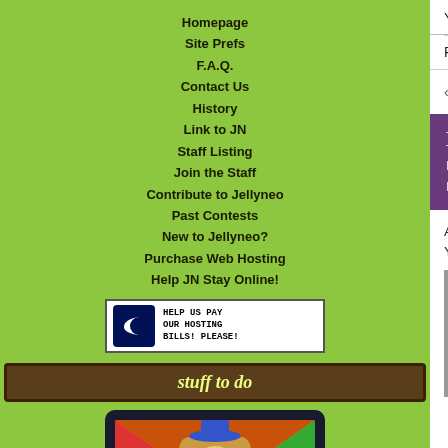Homepage
Site Prefs
F.A.Q.
Contact Us
History
Link to JN
Staff Listing
Join the Staff
Contribute to Jellyneo
Past Contests
New to Jellyneo?
Purchase Web Hosting
Help JN Stay Online!
[Figure (other): Help Us Pay Our Hosting Bills! Please! banner with moon logo]
stuff to do
[Figure (illustration): Jordle with Jordie game promotional image showing cartoon character]
[Figure (illustration): Second game promotional image showing purple character]
You can also register a jnAccount; it's free a
Pick your news: Neopets News | Crosswo
Pagination: « 1 2 3 4 5 6 7 8 9
Neopets Posts Update to Site Br
Posted by Dave
Posted on August 29, 2022, 1:19 pm NST
At around 1:00 PM NST today, Neopets be You can read it here, or see it reproduced
August 29, 2022

Re: Notice of Data Breach

Neopets began updating individuals that may have affected players' info players on July 21, 2022, and August